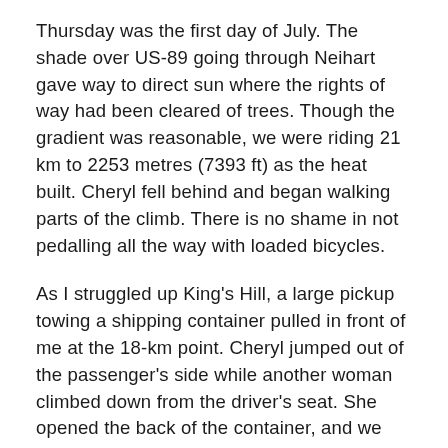Thursday was the first day of July. The shade over US-89 going through Neihart gave way to direct sun where the rights of way had been cleared of trees. Though the gradient was reasonable, we were riding 21 km to 2253 metres (7393 ft) as the heat built. Cheryl fell behind and began walking parts of the climb. There is no shame in not pedalling all the way with loaded bicycles.
As I struggled up King's Hill, a large pickup towing a shipping container pulled in front of me at the 18-km point. Cheryl jumped out of the passenger's side while another woman climbed down from the driver's seat. She opened the back of the container, and we loaded my bike with Cheryl's for the last two miles to the summit. It turns out that the woman was another freelancer, who repositioned empty containers. The gig economy takes many forms.